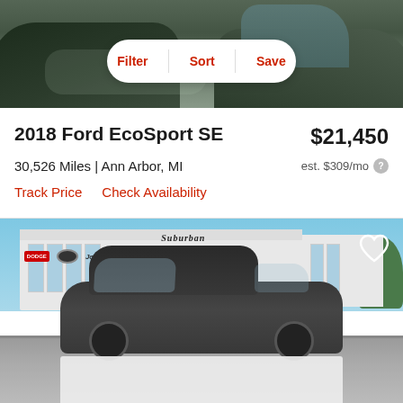[Figure (photo): Top portion showing car lot with multiple vehicles visible, blurred background]
Filter | Sort | Save
2018 Ford EcoSport SE
$21,450
30,526 Miles | Ann Arbor, MI
est. $309/mo
Track Price   Check Availability
[Figure (photo): Suburban dealership lot with a dark SUV (Ford EcoSport) parked in front of a Chrysler/Dodge/Jeep/Ram dealership building with Suburban signage]